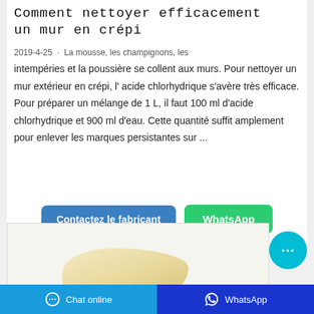Comment nettoyer efficacement un mur en crépi
2019-4-25 · La mousse, les champignons, les intempéries et la poussière se collent aux murs. Pour nettoyer un mur extérieur en crépi, l' acide chlorhydrique s'avère très efficace. Pour préparer un mélange de 1 L, il faut 100 ml d'acide chlorhydrique et 900 ml d'eau. Cette quantité suffit amplement pour enlever les marques persistantes sur ...
[Figure (screenshot): Two call-to-action buttons: 'Contactez le fabricant' (blue) and 'WhatsApp' (green)]
[Figure (photo): Photo of a cream/soap bar on a light background]
Chat online | WhatsApp